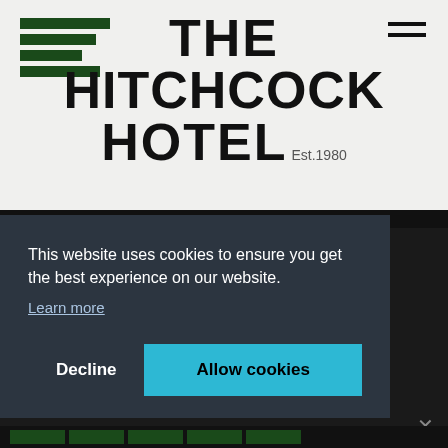[Figure (logo): Stacked horizontal bars logo icon in dark green, decreasing then increasing width]
THE HITCHCOCK HOTEL Est.1980
[Figure (other): Hamburger menu icon (two horizontal lines) in top right corner]
This website uses cookies to ensure you get the best experience on our website.
Learn more
Decline
Allow cookies